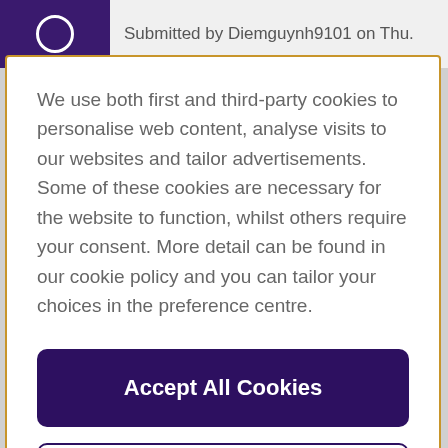Submitted by Diemguynh9101 on Thu.
We use both first and third-party cookies to personalise web content, analyse visits to our websites and tailor advertisements. Some of these cookies are necessary for the website to function, whilst others require your consent. More detail can be found in our cookie policy and you can tailor your choices in the preference centre.
Accept All Cookies
Cookies Settings